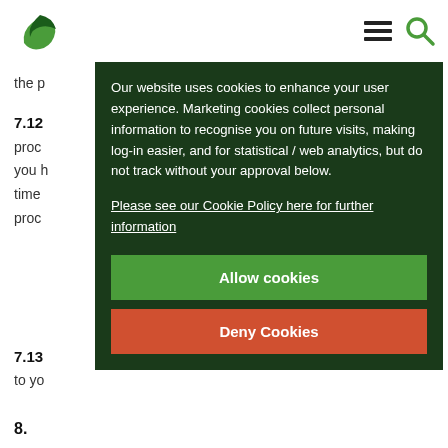Addidi logo and navigation
the p
7.12
proc
you h
time
proc
Our website uses cookies to enhance your user experience. Marketing cookies collect personal information to recognise you on future visits, making log-in easier, and for statistical / web analytics, but do not track without your approval below.
Please see our Cookie Policy here for further information
Allow cookies
Deny Cookies
7.13
to yo
8.